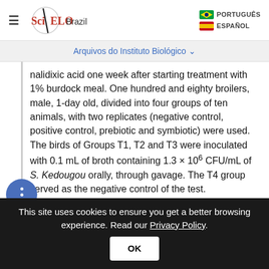SciELO Brazil | PORTUGUÊS | ESPAÑOL
Arquivos do Instituto Biológico ∨
nalidixic acid one week after starting treatment with 1% burdock meal. One hundred and eighty broilers, male, 1-day old, divided into four groups of ten animals, with two replicates (negative control, positive control, prebiotic and symbiotic) were used. The birds of Groups T1, T2 and T3 were inoculated with 0.1 mL of broth containing 1.3 × 10⁶ CFU/mL of S. Kedougou orally, through gavage. The T4 group served as the negative control of the test.

The animals were humanly killed seven days after
This site uses cookies to ensure you get a better browsing experience. Read our Privacy Policy.